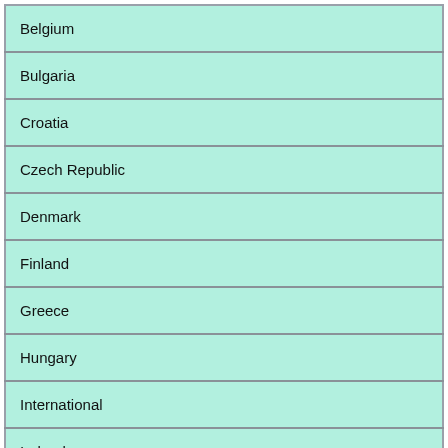| Belgium |
| Bulgaria |
| Croatia |
| Czech Republic |
| Denmark |
| Finland |
| Greece |
| Hungary |
| International |
| Ireland |
| Israel |
| Mexico |